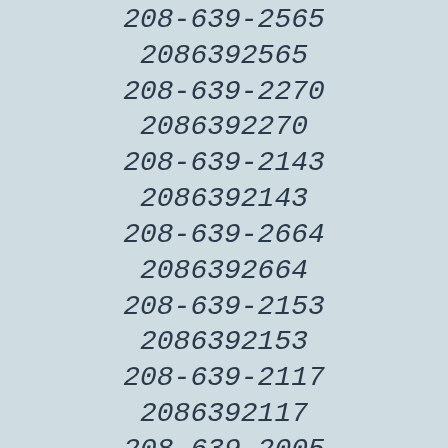208-639-2565
2086392565
208-639-2270
2086392270
208-639-2143
2086392143
208-639-2664
2086392664
208-639-2153
2086392153
208-639-2117
2086392117
208-639-2005
Caller LookUp
2086392005